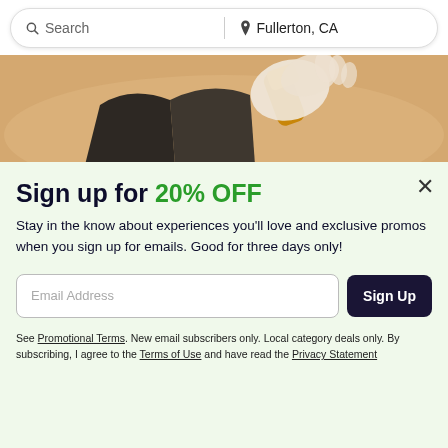Search | Fullerton, CA
[Figure (photo): Close-up photo of hands applying wax to skin, with black fabric visible]
Sign up for 20% OFF
Stay in the know about experiences you'll love and exclusive promos when you sign up for emails. Good for three days only!
Email Address [input field] Sign Up [button]
See Promotional Terms. New email subscribers only. Local category deals only. By subscribing, I agree to the Terms of Use and have read the Privacy Statement